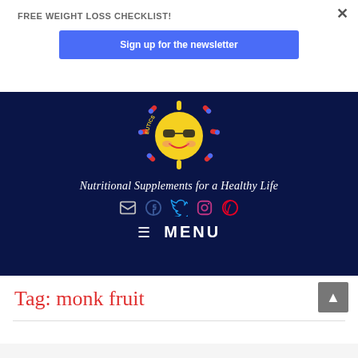FREE WEIGHT LOSS CHECKLIST!
Sign up for the newsletter
×
[Figure (logo): Nutraceutics logo: cartoon sun with sunglasses, red and blue pill-shaped rays, yellow rays, circular text reading NUTRACEUTICS]
Nutritional Supplements for a Healthy Life
[Figure (other): Social media icons: email, Facebook, Twitter, Instagram, Pinterest]
≡ MENU
Tag: monk fruit